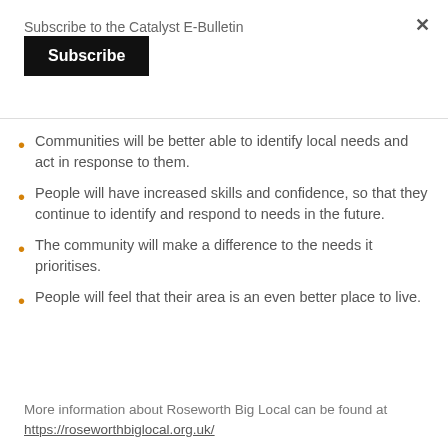Subscribe to the Catalyst E-Bulletin
Subscribe
Communities will be better able to identify local needs and act in response to them.
People will have increased skills and confidence, so that they continue to identify and respond to needs in the future.
The community will make a difference to the needs it prioritises.
People will feel that their area is an even better place to live.
More information about Roseworth Big Local can be found at https://roseworthbiglocal.org.uk/